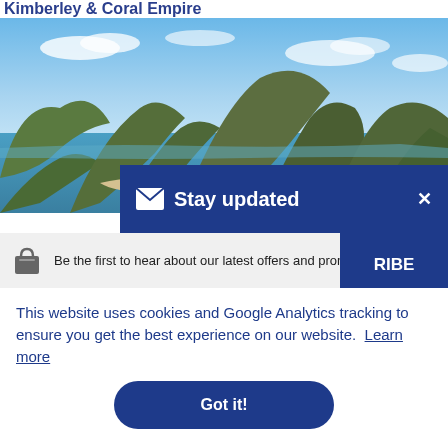Kimberley & Coral Empire
[Figure (photo): Aerial photograph of an island archipelago with green rocky hills, white sandy beaches, and blue ocean water under a partly cloudy blue sky]
✉ Stay updated  ×
Be the first to hear about our latest offers and promotions.
This website uses cookies and Google Analytics tracking to ensure you get the best experience on our website.  Learn more
Got it!